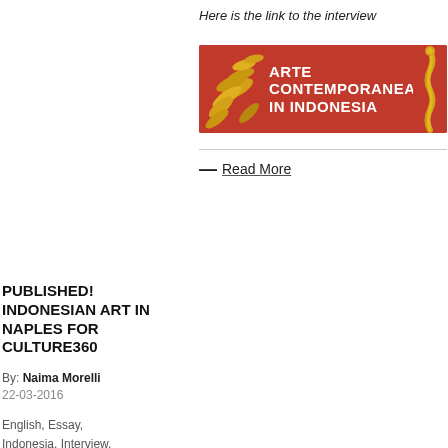Here is the link to the interview
[Figure (illustration): Arte Contemporanea in Indonesia red banner with golden decorative elements]
— Read More
PUBLISHED! INDONESIAN ART IN NAPLES FOR CULTURE360
By: Naima Morelli
22-03-2016
English, Essay, Indonesia, Interview,
[Figure (screenshot): Screenshot of ASEF culture360 website showing article 'Making Naples a home for Indonesian art and literature']